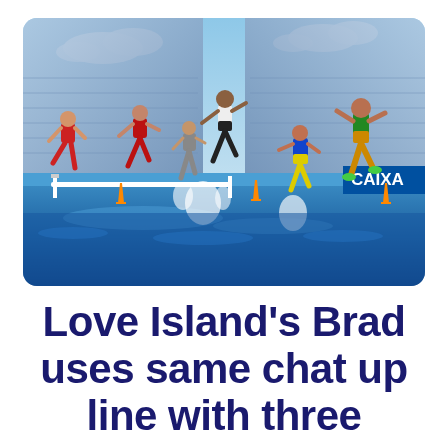[Figure (photo): Athletes competing in steeplechase water jump at a track and field stadium, with CAIXA sponsor banner visible, water splashing as runners leap over hurdle into the water pit]
Love Island's Brad uses same chat up line with three